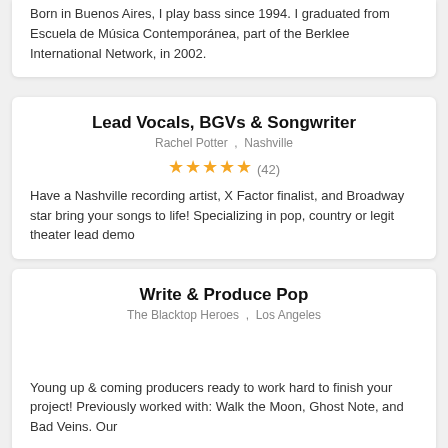Born in Buenos Aires, I play bass since 1994. I graduated from Escuela de Música Contemporánea, part of the Berklee International Network, in 2002.
Lead Vocals, BGVs & Songwriter
Rachel Potter , Nashville
★★★★★ (42)
Have a Nashville recording artist, X Factor finalist, and Broadway star bring your songs to life! Specializing in pop, country or legit theater lead demo
Write & Produce Pop
The Blacktop Heroes , Los Angeles
Young up & coming producers ready to work hard to finish your project! Previously worked with: Walk the Moon, Ghost Note, and Bad Veins. Our
Songwriter, Session musician
Nova Song , Victoria